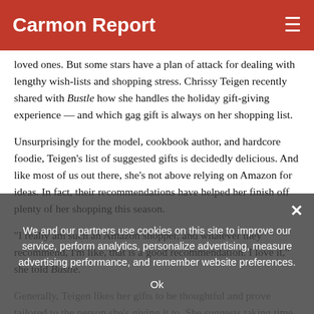Carmon Report
loved ones. But some stars have a plan of attack for dealing with lengthy wish-lists and shopping stress. Chrissy Teigen recently shared with Bustle how she handles the holiday gift-giving experience — and which gag gift is always on her shopping list.
Unsurprisingly for the model, cookbook author, and hardcore foodie, Teigen's list of suggested gifts is decidedly delicious. And like most of us out there, she's not above relying on Amazon for ideas. In fact, their recommendations have helped her finish off plenty of her shopping this season.
“I really am such an Amazon shopper, and whatever they recommend, I’m like, that is a good recommendation. I love it,” she told Bustle.
Generally, Teigen likes her gifts to be thoughtful and prove tailored to the person she's giving it to. She suggests taking time on deciding which gifts would work best for certain people, and takes a lot of pride in picking the perfect present. That being said, the supermodel also has a weakness for gag/pun gifts.
We and our partners use cookies on this site to improve our service, perform analytics, personalize advertising, measure advertising performance, and remember website preferences.
Ok